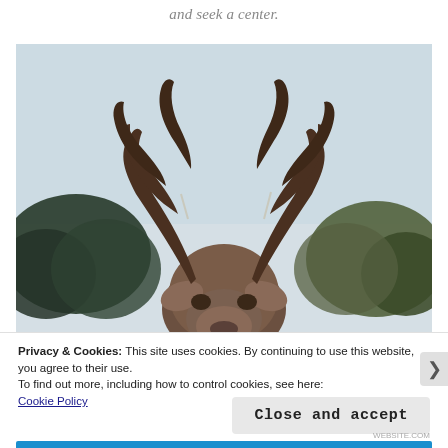and seek a center.
[Figure (photo): Close-up photograph of a stag (male deer) with large antlers, taken from below against an overcast sky, with dark green and autumn-colored trees in the background.]
Privacy & Cookies: This site uses cookies. By continuing to use this website, you agree to their use.
To find out more, including how to control cookies, see here:
Cookie Policy
Close and accept